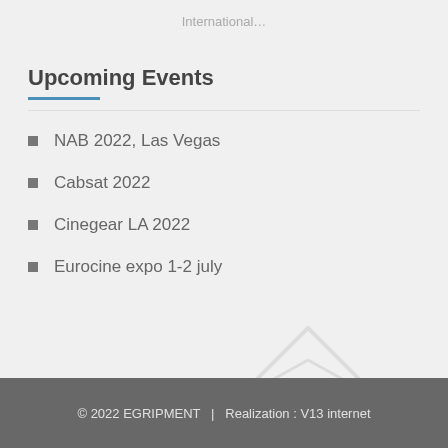International…
Upcoming Events
NAB 2022, Las Vegas
Cabsat 2022
Cinegear LA 2022
Eurocine expo 1-2 july
[Figure (logo): Watermark envelope/diamond logo in light gray]
© 2022 EGRIPMENT   |   Realization : V13 internet